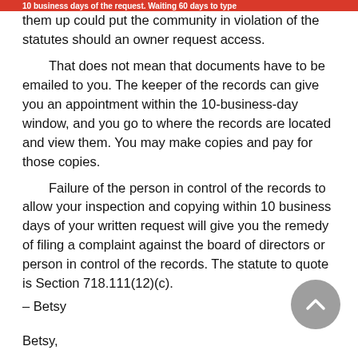10 business days of the request. Waiting 60 days to type them up could put the community in violation of the statutes should an owner request access.
That does not mean that documents have to be emailed to you. The keeper of the records can give you an appointment within the 10-business-day window, and you go to where the records are located and view them. You may make copies and pay for those copies.
Failure of the person in control of the records to allow your inspection and copying within 10 business days of your written request will give you the remedy of filing a complaint against the board of directors or person in control of the records. The statute to quote is Section 718.111(12)(c).
– Betsy
Betsy,